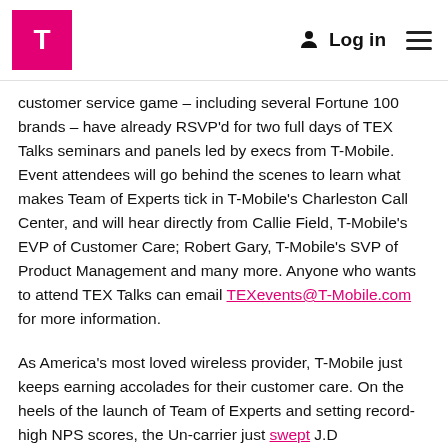T-Mobile Logo | Log in | Menu
customer service game – including several Fortune 100 brands – have already RSVP'd for two full days of TEX Talks seminars and panels led by execs from T-Mobile. Event attendees will go behind the scenes to learn what makes Team of Experts tick in T-Mobile's Charleston Call Center, and will hear directly from Callie Field, T-Mobile's EVP of Customer Care; Robert Gary, T-Mobile's SVP of Product Management and many more. Anyone who wants to attend TEX Talks can email TEXevents@T-Mobile.com for more information.
As America's most loved wireless provider, T-Mobile just keeps earning accolades for their customer care. On the heels of the launch of Team of Experts and setting record-high NPS scores, the Un-carrier just swept J.D